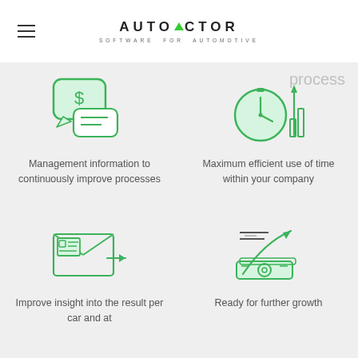AUTOFACTOR — SOFTWARE FOR AUTOMOTIVE
process
[Figure (illustration): Green icon of speech bubbles with dollar sign — management information]
Management information to continuously improve processes
[Figure (illustration): Green icon of clock with bar chart and upward arrow — time efficiency]
Maximum efficient use of time within your company
[Figure (illustration): Green icon of email/document envelope with cursor — insight per car]
Improve insight into the result per car and at
[Figure (illustration): Green icon of money/cash with growth arrow chart — ready for growth]
Ready for further growth